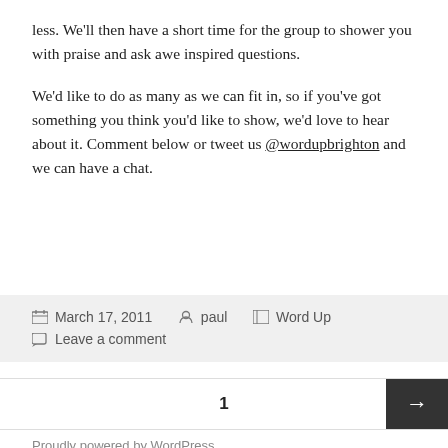less. We'll then have a short time for the group to shower you with praise and ask awe inspired questions.
We'd like to do as many as we can fit in, so if you've got something you think you'd like to show, we'd love to hear about it. Comment below or tweet us @wordupbrighton and we can have a chat.
March 17, 2011  paul  Word Up  Leave a comment
1
Proudly powered by WordPress